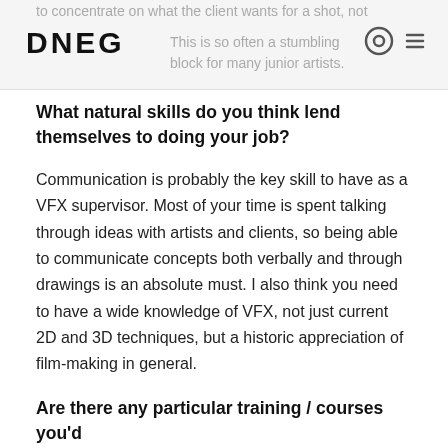to concentrate on what the client wants for a shot, not… DNEG This is so often a stumbling block for many junior artists.
What natural skills do you think lend themselves to doing your job?
Communication is probably the key skill to have as a VFX supervisor. Most of your time is spent talking through ideas with artists and clients, so being able to communicate concepts both verbally and through drawings is an absolute must. I also think you need to have a wide knowledge of VFX, not just current 2D and 3D techniques, but a historic appreciation of film-making in general.
Are there any particular training / courses you'd